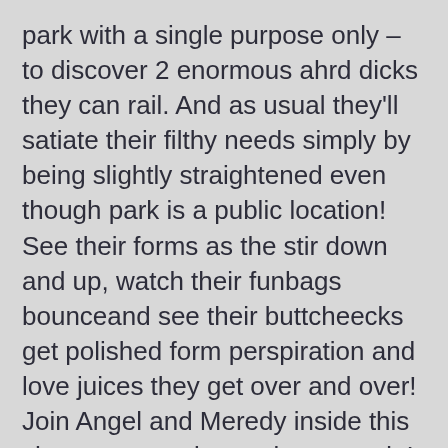park with a single purpose only – to discover 2 enormous ahrd dicks they can rail. And as usual they'll satiate their filthy needs simply by being slightly straightened even though park is a public location! See their forms as the stir down and up, watch their funbags bounceand see their buttcheecks get polished form perspiration and love juices they get over and over! Join Angel and Meredy inside this short yet arousing park escapade! Play now »
Published June 20, 2020
Game type: Adobe Flash